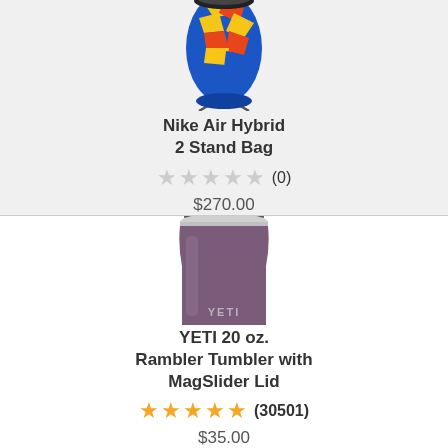[Figure (photo): Nike Air Hybrid 2 Stand Bag - colorful golf bag with blue, yellow, orange and red pattern, with stand legs visible]
Nike Air Hybrid 2 Stand Bag
★★★★★ (0)
$270.00
[Figure (photo): YETI 20 oz. Rambler Tumbler with MagSlider Lid - purple/nordic violet stainless steel tumbler with black MagSlider lid]
YETI 20 oz. Rambler Tumbler with MagSlider Lid
★★★★★ (30501)
$35.00